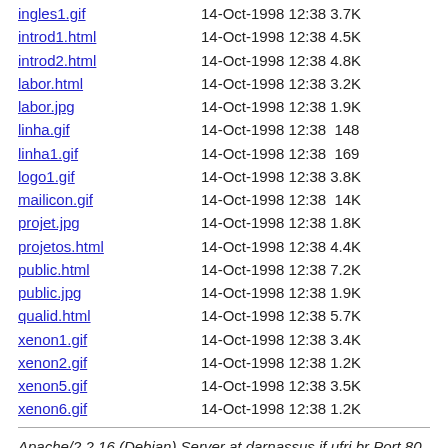ingles1.gif   14-Oct-1998 12:38 3.7K
introd1.html  14-Oct-1998 12:38 4.5K
introd2.html  14-Oct-1998 12:38 4.8K
labor.html    14-Oct-1998 12:38 3.2K
labor.jpg     14-Oct-1998 12:38 1.9K
linha.gif     14-Oct-1998 12:38  148
linha1.gif    14-Oct-1998 12:38  169
logo1.gif     14-Oct-1998 12:38 3.8K
mailicon.gif  14-Oct-1998 12:38  14K
projet.jpg    14-Oct-1998 12:38 1.8K
projetos.html 14-Oct-1998 12:38 4.4K
public.html   14-Oct-1998 12:38 7.2K
public.jpg    14-Oct-1998 12:38 1.9K
qualid.html   14-Oct-1998 12:38 5.7K
xenon1.gif    14-Oct-1998 12:38 3.4K
xenon2.gif    14-Oct-1998 12:38 1.2K
xenon5.gif    14-Oct-1998 12:38 3.5K
xenon6.gif    14-Oct-1998 12:38 1.2K
Apache/2.2.16 (Debian) Server at darnassus.if.ufrj.br Port 80